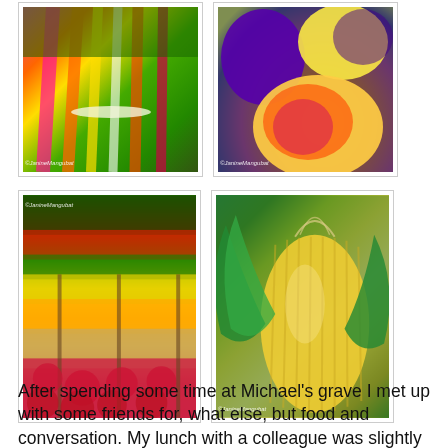[Figure (photo): Photo of colorful rainbow chard with bright pink, red, orange, and yellow stems with green leaves, bundled together]
[Figure (photo): Photo of fresh stone fruits including purple plums and a peach/nectarine with red and yellow coloring]
[Figure (photo): Photo of a farm market stand with rows of colorful vegetables including red peppers, green vegetables, yellow squash, potatoes, and red potatoes]
[Figure (photo): Close-up photo of fresh corn on the cob with husks partially pulled back, showing yellow kernels]
After spending some time at Michael's grave I met up with some friends for, what else, but food and conversation. My lunch with a colleague was slightly delayed by the maze of